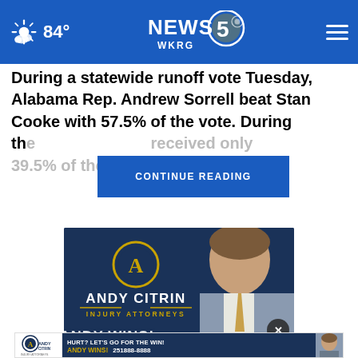84° NEWS 5 WKRG
During a statewide runoff vote Tuesday, Alabama Rep. Andrew Sorrell beat Stan Cooke with 57.5% of the vote. During th... received only 29.5% of the...
[Figure (other): CONTINUE READING button overlay]
[Figure (photo): Andy Citrin Injury Attorneys advertisement with man in suit smiling, gold circle logo with letter A, text ANDY CITRIN INJURY ATTORNEYS and ANDY WINS! at bottom]
[Figure (other): Andy Citrin bottom banner ad: HURT? LET'S GO FOR THE WIN! ANDY WINS! 251 888-8888]